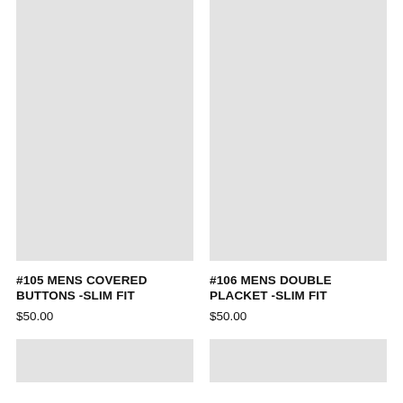[Figure (photo): Product image placeholder for #105 Mens Covered Buttons - Slim Fit, light gray rectangle]
[Figure (photo): Product image placeholder for #106 Mens Double Placket - Slim Fit, light gray rectangle]
#105 MENS COVERED BUTTONS -SLIM FIT
$50.00
#106 MENS DOUBLE PLACKET -SLIM FIT
$50.00
[Figure (photo): Product image placeholder bottom left, light gray rectangle, partially visible]
[Figure (photo): Product image placeholder bottom right, light gray rectangle, partially visible]